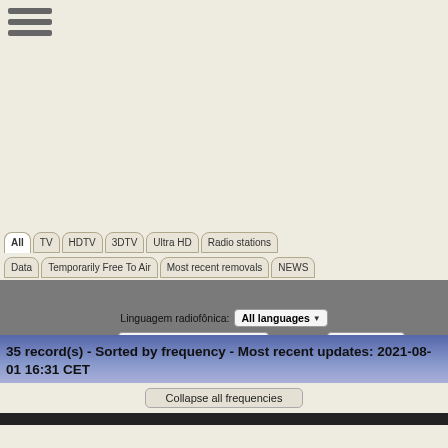[Figure (screenshot): Hamburger menu icon (three horizontal lines) in top-left corner]
All
TV
HDTV
3DTV
Ultra HD
Radio stations
Data
Temporarily Free To Air
Most recent removals
NEWS
Linguagem radiofônica: All languages
Select a beam: Sub-Sahara (Intelsat 33E)   Sorted by: Frequency
Encryption: Show encrypted channels
Modo de exibição: Switch to Chart mode
35 record(s) - Sorted by frequency - Most recent updates: 2021-08-01 16:31 CET
Collapse all frequencies
Frequenc...